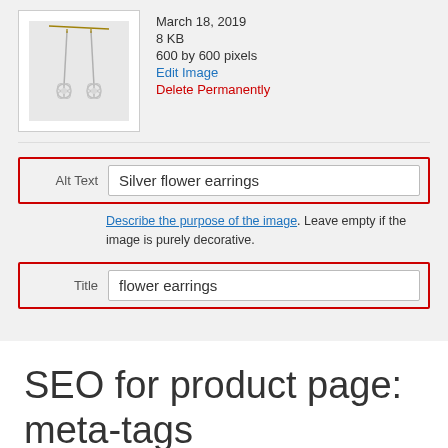[Figure (screenshot): WordPress media library edit screen showing a silver flower earrings product image thumbnail with metadata (March 18, 2019, 8 KB, 600 by 600 pixels), Edit Image link in blue, Delete Permanently link in red, an Alt Text field highlighted with red border containing 'Silver flower earrings', a helper text with a blue link 'Describe the purpose of the image. Leave empty if the image is purely decorative.', and a Title field highlighted with red border containing 'flower earrings'.]
SEO for product page: meta-tags